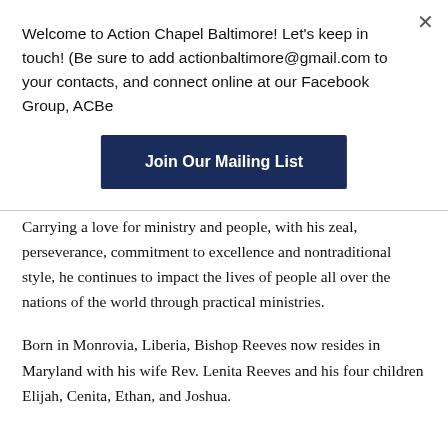Welcome to Action Chapel Baltimore! Let's keep in touch! (Be sure to add actionbaltimore@gmail.com to your contacts, and connect online at our Facebook Group, ACBe
[Figure (other): Dark navy blue button labeled 'Join Our Mailing List']
Carrying a love for ministry and people, with his zeal, perseverance, commitment to excellence and nontraditional style, he continues to impact the lives of people all over the nations of the world through practical ministries.
Born in Monrovia, Liberia, Bishop Reeves now resides in Maryland with his wife Rev. Lenita Reeves and his four children Elijah, Cenita, Ethan, and Joshua.